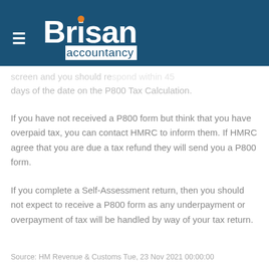[Figure (logo): Brisan Accountancy logo with hamburger menu on dark blue header bar]
...screen and you should respond within 45 days of the date on the P800 Tax Calculation.
If you have not received a P800 form but think that you have overpaid tax, you can contact HMRC to inform them. If HMRC agree that you are due a tax refund they will send you a P800 form.
If you complete a Self-Assessment return, then you should not expect to receive a P800 form as any underpayment or overpayment of tax will be handled by way of your tax return.
Source: HM Revenue & Customs Tue, 23 Nov 2021 00:00:00